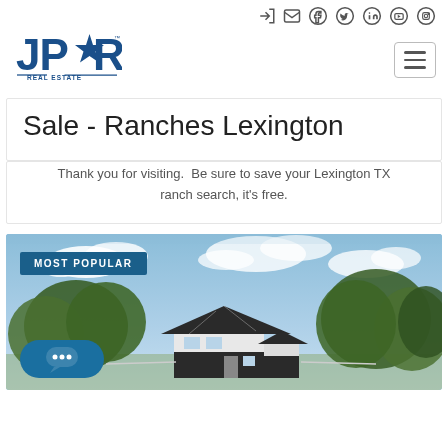JPAR Real Estate — navigation header with social icons and logo
Sale - Ranches Lexington
Thank you for visiting.  Be sure to save your Lexington TX ranch search, it's free.
[Figure (photo): Ranch property photo showing a white farmhouse with metal roof surrounded by large oak trees under a blue sky with clouds. A 'MOST POPULAR' badge is shown in the upper-left corner of the image. A chat widget button is visible in the lower-left.]